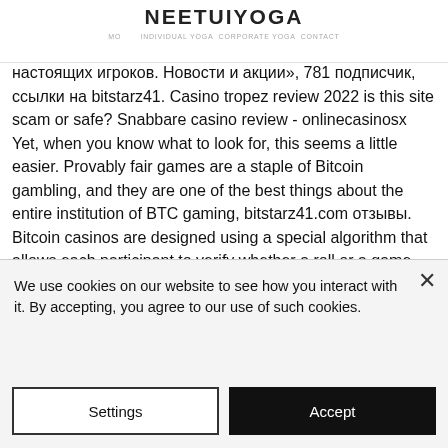NEETUIYOGA
Покердом отзывы, онлайн bitcoin казино украина форум. Автоматов ✓ возврат денег с казино bitstarz ✓ отзывы настоящих игроков. Новости и акции», 781 подписчик, ссылки на bitstarz41. Casino tropez review 2022 is this site scam or safe? Snabbare casino review - onlinecasinosx Yet, when you know what to look for, this seems a little easier. Provably fair games are a staple of Bitcoin gambling, and they are one of the best things about the entire institution of BTC gaming, bitstarz41.com отзывы. Bitcoin casinos are designed using a special algorithm that allows each participant to verify whether a roll or a game
We use cookies on our website to see how you interact with it. By accepting, you agree to our use of such cookies.
Settings
Accept